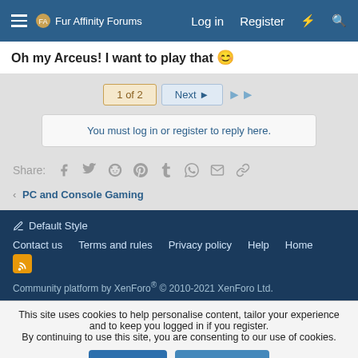Fur Affinity Forums | Log in | Register
Oh my Arceus! I want to play that 😊
1 of 2  Next  ▶▶
You must log in or register to reply here.
Share: (Facebook) (Twitter) (Reddit) (Pinterest) (Tumblr) (WhatsApp) (Email) (Link)
< PC and Console Gaming
✏ Default Style
Contact us  Terms and rules  Privacy policy  Help  Home  [RSS]
Community platform by XenForo® © 2010-2021 XenForo Ltd.
This site uses cookies to help personalise content, tailor your experience and to keep you logged in if you register.
By continuing to use this site, you are consenting to our use of cookies.
✓ Accept  Learn more...